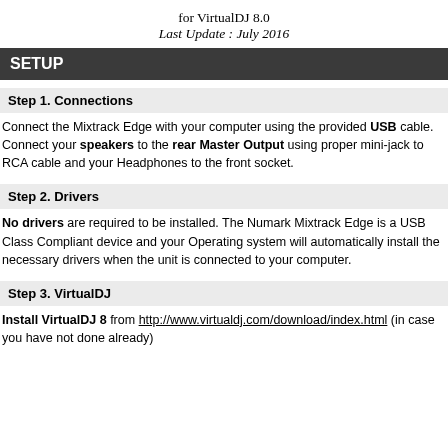for VirtualDJ 8.0
Last Update : July 2016
SETUP
Step 1. Connections
Connect the Mixtrack Edge with your computer using the provided USB cable. Connect your speakers to the rear Master Output using proper mini-jack to RCA cable and your Headphones to the front socket.
Step 2. Drivers
No drivers are required to be installed. The Numark Mixtrack Edge is a USB Class Compliant device and your Operating system will automatically install the necessary drivers when the unit is connected to your computer.
Step 3. VirtualDJ
Install VirtualDJ 8 from http://www.virtualdj.com/download/index.html (in case you have not done already)